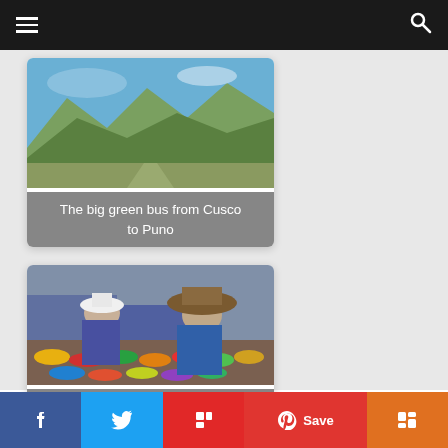Navigation bar with hamburger menu and search icon
[Figure (photo): Mountain landscape with green valleys and blue sky - card image for 'The big green bus from Cusco to Puno']
The big green bus from Cusco to Puno
[Figure (photo): Peruvian women at a colorful market with spices and dyes - card image for 'From Cusco to Ollantaytambo - the Inca Sacred Valley']
From Cusco to Ollantaytambo - the Inca Sacred Valley
f  (twitter)  (flipboard)  (pinterest) Save  (mix)